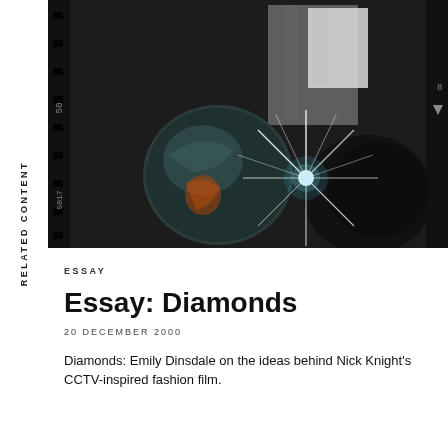RELATED CONTENT
[Figure (photo): Film strip-style photograph showing a diamond or glass object with a starburst light reflection, dark background with film sprocket markings, numbers 50 and 5017 visible on film border]
ESSAY
Essay: Diamonds
20 DECEMBER 2000
Diamonds: Emily Dinsdale on the ideas behind Nick Knight's CCTV-inspired fashion film.